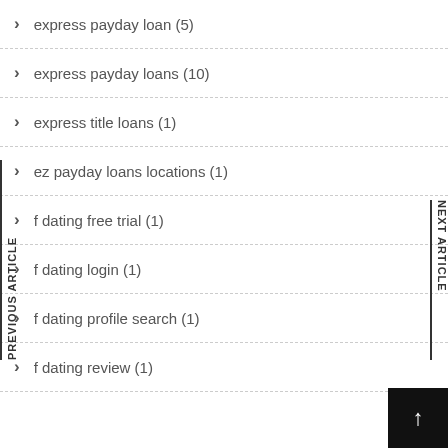> express payday loan (5)
> express payday loans (10)
> express title loans (1)
> ez payday loans locations (1)
> f dating free trial (1)
> f dating login (1)
> f dating profile search (1)
> f dating review (1)